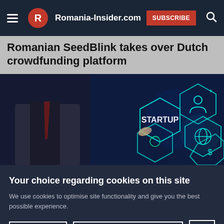Romania-Insider.com SUBSCRIBE
Romanian SeedBlink takes over Dutch crowdfunding platform
[Figure (photo): Business person in suit touching a digital interface showing hexagonal icons with STARTUP text and symbols for network, user, globe, and finance]
Your choice regarding cookies on this site
We use cookies to optimise site functionality and give you the best possible experience.
Accept   Cookie Preferences   X